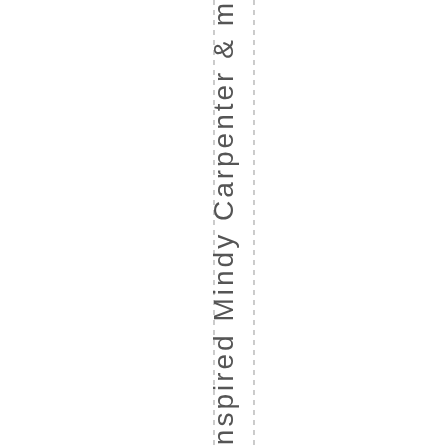berries inspired Mindy Carpenter & m